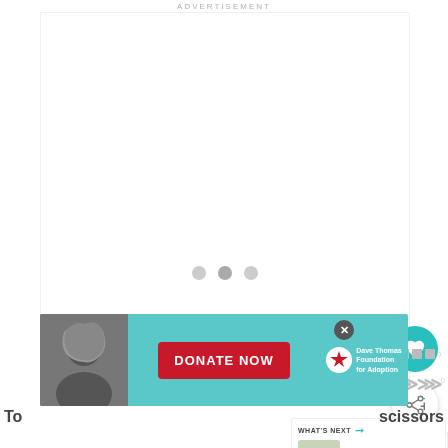ADVERTISEMENT
[Figure (screenshot): Large white advertisement/content area with three carousel indicator dots (gray circles) in the center]
[Figure (infographic): Teal circular heart/favorite button icon on the right side]
[Figure (infographic): White circular share button with share icon on the right side]
[Figure (screenshot): What's Next panel showing thumbnail and text: Pea Plant Life Cycle and...]
[Figure (screenshot): Bottom advertisement banner for Dave Thomas Foundation for Adoption with DONATE NOW button, person photo, and teal background]
To...scissors